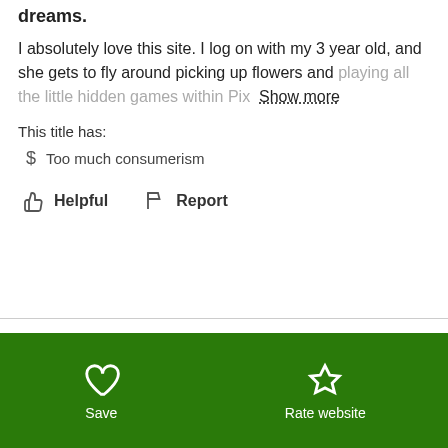dreams.
I absolutely love this site. I log on with my 3 year old, and she gets to fly around picking up flowers and playing all the little hidden games within Pix  Show more
This title has:
$ Too much consumerism
Helpful   Report
See all 3 parent reviews
Add your rating
Save
Rate website